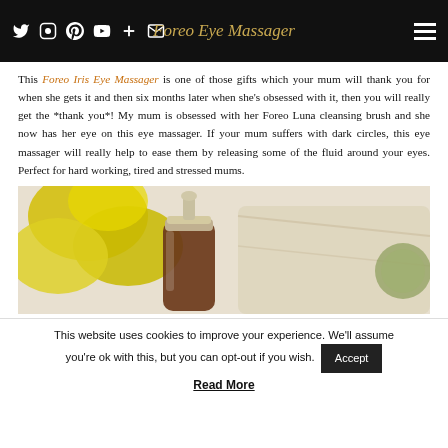Foreo Eye Massager
This Foreo Iris Eye Massager is one of those gifts which your mum will thank you for when she gets it and then six months later when she's obsessed with it, then you will really get the *thank you*! My mum is obsessed with her Foreo Luna cleansing brush and she now has her eye on this eye massager. If your mum suffers with dark circles, this eye massager will really help to ease them by releasing some of the fluid around your eyes. Perfect for hard working, tired and stressed mums.
[Figure (photo): Close-up product photo of a skincare serum bottle with pump dispenser, yellow flowers and folded cloth in background]
This website uses cookies to improve your experience. We'll assume you're ok with this, but you can opt-out if you wish.
Accept
Read More